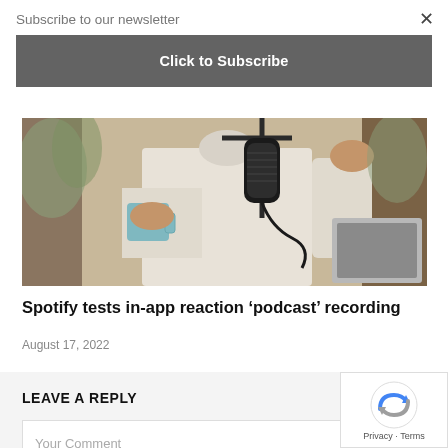Subscribe to our newsletter
Click to Subscribe
×
[Figure (photo): Person in white long-sleeve shirt holding a blue mug, with a professional podcast microphone on a boom arm in front of them, and a laptop visible to the right, indoor setting with plants in the background.]
Spotify tests in-app reaction ‘podcast’ recording
August 17, 2022
LEAVE A REPLY
Your Comment
[Figure (logo): Google reCAPTCHA logo with blue and grey arrow icon, and Privacy · Terms links below.]